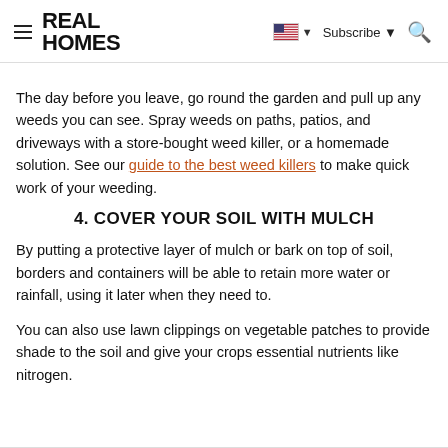REAL HOMES
The day before you leave, go round the garden and pull up any weeds you can see. Spray weeds on paths, patios, and driveways with a store-bought weed killer, or a homemade solution. See our guide to the best weed killers to make quick work of your weeding.
4. COVER YOUR SOIL WITH MULCH
By putting a protective layer of mulch or bark on top of soil, borders and containers will be able to retain more water or rainfall, using it later when they need to.
You can also use lawn clippings on vegetable patches to provide shade to the soil and give your crops essential nutrients like nitrogen.